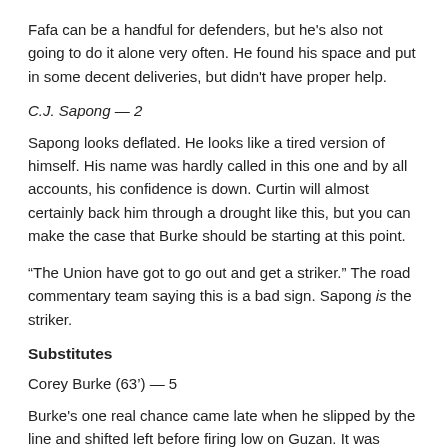Fafa can be a handful for defenders, but he's also not going to do it alone very often. He found his space and put in some decent deliveries, but didn't have proper help.
C.J. Sapong — 2
Sapong looks deflated. He looks like a tired version of himself. His name was hardly called in this one and by all accounts, his confidence is down. Curtin will almost certainly back him through a drought like this, but you can make the case that Burke should be starting at this point.
“The Union have got to go out and get a striker.” The road commentary team saying this is a bad sign. Sapong is the striker.
Substitutes
Corey Burke (63’) — 5
Burke's one real chance came late when he slipped by the line and shifted left before firing low on Guzan. It was saved